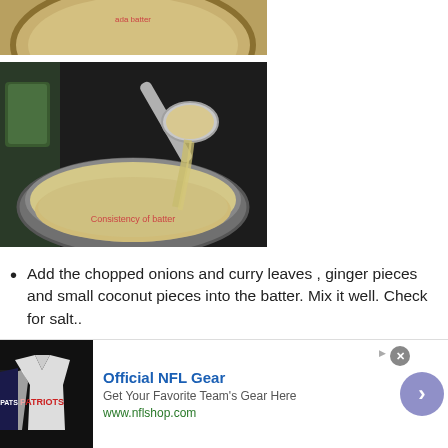[Figure (photo): Top portion of a bowl with batter, partially visible at top of page]
[Figure (photo): A spoon pouring batter into a metal bowl. Text overlay reads 'Consistency of batter']
Add the chopped onions and curry leaves , ginger pieces and small coconut pieces into the batter. Mix it well. Check for salt..
[Figure (photo): A metal bowl containing batter, partially visible at bottom of page]
[Figure (photo): Advertisement banner: Official NFL Gear - Get Your Favorite Team's Gear Here - www.nflshop.com]